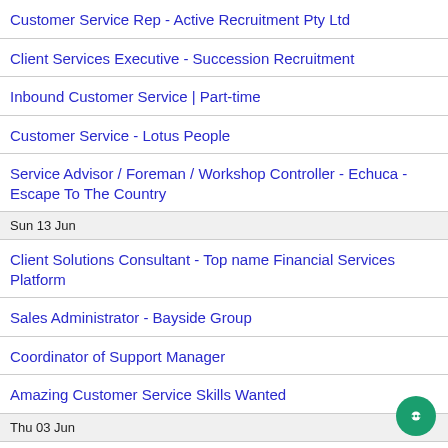Customer Service Rep - Active Recruitment Pty Ltd
Client Services Executive - Succession Recruitment
Inbound Customer Service | Part-time
Customer Service - Lotus People
Service Advisor / Foreman / Workshop Controller - Echuca - Escape To The Country
Sun 13 Jun
Client Solutions Consultant - Top name Financial Services Platform
Sales Administrator - Bayside Group
Coordinator of Support Manager
Amazing Customer Service Skills Wanted
Thu 03 Jun